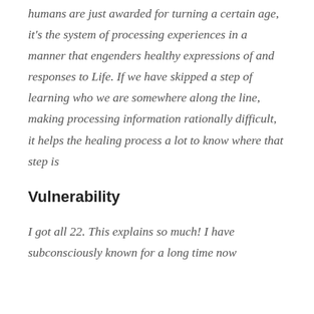humans are just awarded for turning a certain age, it's the system of processing experiences in a manner that engenders healthy expressions of and responses to Life. If we have skipped a step of learning who we are somewhere along the line, making processing information rationally difficult, it helps the healing process a lot to know where that step is
Vulnerability
I got all 22. This explains so much! I have subconsciously known for a long time now